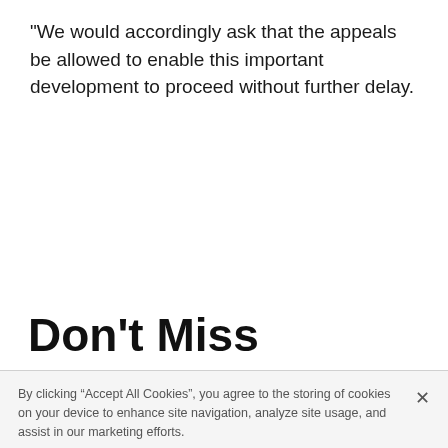"We would accordingly ask that the appeals be allowed to enable this important development to proceed without further delay.
Don't Miss
By clicking “Accept All Cookies”, you agree to the storing of cookies on your device to enhance site navigation, analyze site usage, and assist in our marketing efforts.